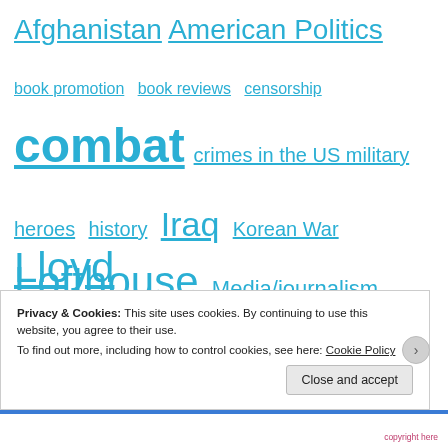Afghanistan
American Politics
book promotion
book reviews
censorship
combat
crimes in the US military
heroes
history
Iraq
Korean War
Lloyd Lofthouse
Media/journalism
Medical care through the VA
military service
military veterans
politics
Post Traumatic Stress Disorder
Privacy & Cookies: This site uses cookies. By continuing to use this website, you agree to their use.
To find out more, including how to control cookies, see here: Cookie Policy
Close and accept